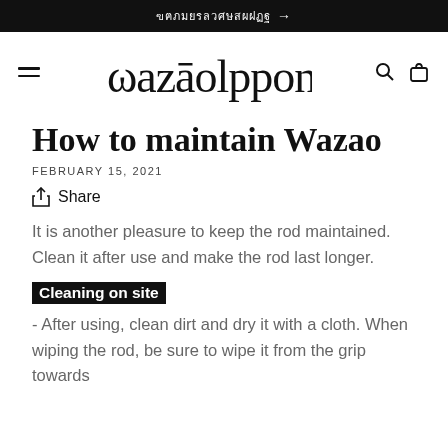ฃฅภมยรลวศษสผฝฏฐ →
[Figure (logo): Wazao brand logo in stylized script font with navigation hamburger menu on left and search/bag icons on right]
How to maintain Wazao
FEBRUARY 15, 2021
Share
It is another pleasure to keep the rod maintained. Clean it after use and make the rod last longer.
Cleaning on site
- After using, clean dirt and dry it with a cloth. When wiping the rod, be sure to wipe it from the grip towards